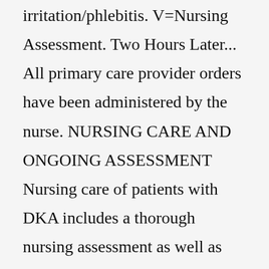irritation/phlebitis. V=Nursing Assessment. Two Hours Later... All primary care provider orders have been administered by the nurse. NURSING CARE AND ONGOING ASSESSMENT Nursing care of patients with DKA includes a thorough nursing assessment as well as patient and family education. Primary assessment involves evaluation of airway, breathing, and circulation (ABC), as well as neurologic status. First, assess airway